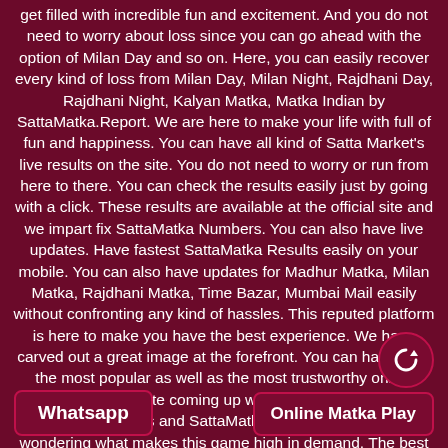get filled with incredible fun and excitement. And you do not need to worry about loss since you can go ahead with the option of Milan Day and so on. Here, you can easily recover every kind of loss from Milan Day, Milan Night, Rajdhani Day, Rajdhani Night, Kalyan Matka, Matka Indian by SattaMatka.Report. We are here to make your life with full of fun and happiness. You can have all kind of Satta Market's live results on the site. You do not need to worry or run from here to there. You can check the results easily just by going with a click. These results are available at the official site and we impart fix SattaMatka Numbers. You can also have live updates. Have fastest SattaMatka Results easily on your mobile. You can also have updates for Madhur Matka, Milan Matka, Rajdhani Matka, Time Bazar, Mumbai Mail easily without confronting any kind of hassles. This reputed platform is here to make you have the best experience. We have carved out a great image at the forefront. You can have here the most popular as well as the most trustworthy online SattaMatka website coming up with the fastest and great SattaMatka results and SattaMatka number. You might be wondering what makes this game high in demand. The best thing is that you will have anotherlevel of experience that you have never had. You would be able to have a lot of great experience. You may find it a bit bizarre but people are loving this game and that whole world is busy in playing this game out of interest. You can find here many people who are very much into this game. The best thing is that the whole world is
Whatsapp
Online Matka Play